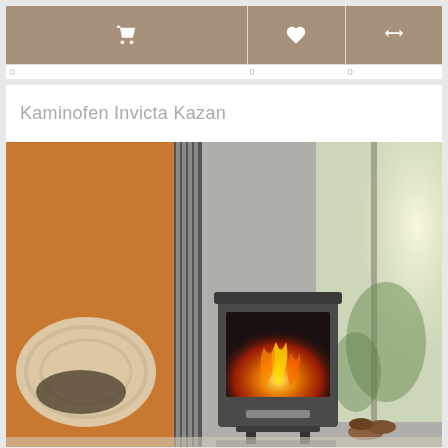[Figure (screenshot): Website toolbar with three icon buttons: shopping cart (left, larger), heart/wishlist (center), and compare arrows (right). Buttons have a warm taupe/brown background with white icons.]
Kaminofen Invicta Kazan
[Figure (photo): Product photo of the Invicta Kazan wood-burning stove in a modern living room setting. The stove is grey/dark metal with a glass front showing active flames. Background shows an orange accent wall, a modern woven lounge chair, a large window with garden view, and stacked firewood logs.]